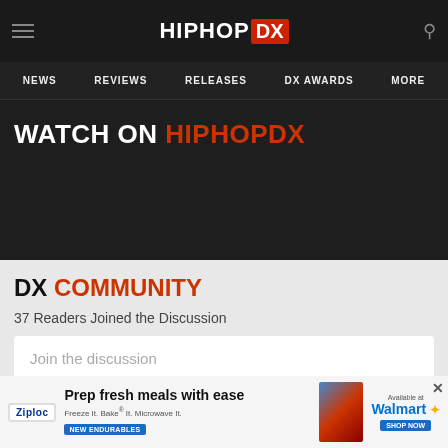HIPHOP DX — Navigation: NEWS, REVIEWS, RELEASES, DX AWARDS, MORE
WATCH ON HIPHOPDX
DX COMMUNITY
37 Readers Joined the Discussion
Join the discussion
[Figure (other): Ziploc advertisement banner: 'Prep fresh meals with ease. Freeze It. Bake It. Microwave It. NEW ENDURABLES. Available at Walmart.']